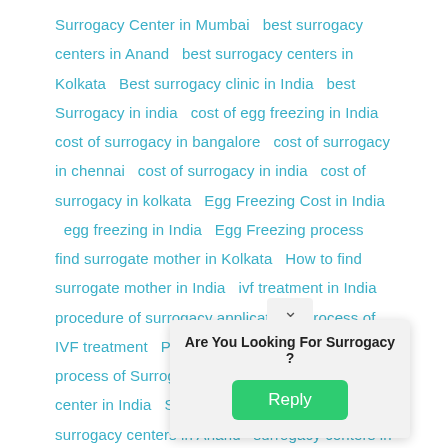Surrogacy Center in Mumbai  best surrogacy centers in Anand  best surrogacy centers in Kolkata  Best surrogacy clinic in India  best Surrogacy in india  cost of egg freezing in India  cost of surrogacy in bangalore  cost of surrogacy in chennai  cost of surrogacy in india  cost of surrogacy in kolkata  Egg Freezing Cost in India  egg freezing in India  Egg Freezing process  find surrogate mother in Kolkata  How to find surrogate mother in India  ivf treatment in India  procedure of surrogacy application  Process of IVF treatment  Process of IVF treatment in India  process of Surrogacy application  surrogacy center in India  Surrogacy Center in Mumbai  surrogacy centers in Anand  surrogacy centers in Delhi  surrogacy centers in Kolkata  surrogacy clinic in India  Surrogacy cost in bangalore  surrogacy cost in chennai  Surrogacy cost in india  surrogacy cost in kolkata  surrogacy in bangalore  surrogacy in chennai  Surrogacy in india  surrogacy in india...  surrogate mother cost  ...surrogacy centers in Anand  Top...  ...Top 10
[Figure (other): Popup dialog overlay with arrow pointing down, text 'Are You Looking For Surrogacy ?' and a green 'Reply' button]